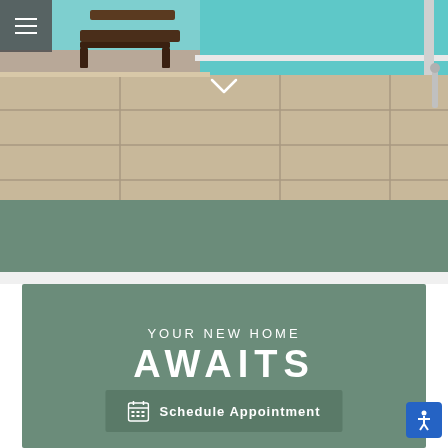[Figure (photo): Pool area with lounge chairs and stone tile patio, turquoise water visible at top, outdoor luxury residential setting]
YOUR NEW HOME
AWAITS
Schedule Appointment